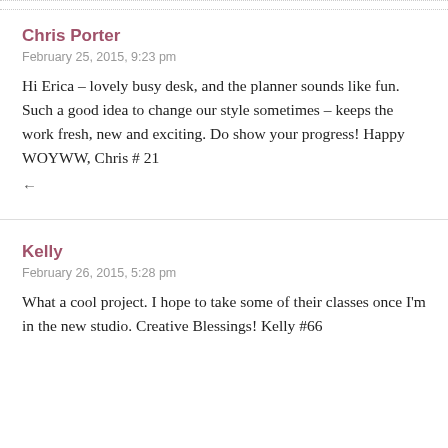Chris Porter
February 25, 2015, 9:23 pm
Hi Erica – lovely busy desk, and the planner sounds like fun. Such a good idea to change our style sometimes – keeps the work fresh, new and exciting. Do show your progress! Happy WOYWW, Chris # 21
Kelly
February 26, 2015, 5:28 pm
What a cool project. I hope to take some of their classes once I'm in the new studio. Creative Blessings! Kelly #66